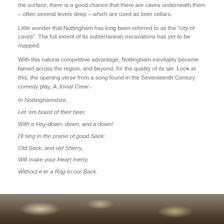the surface, there is a good chance that there are caves underneath them – often several levels deep – which are used as beer cellars.
Little wonder that Nottingham has long been referred to as the “city of caves”. The full extent of its subterranean excavations has yet to be mapped.
With this natural competitive advantage, Nottingham inevitably became famed across the region, and beyond, for the quality of its ale. Look at this, the opening verse from a song found in the Seventeenth Century comedy play, A Jovial Crew:-
In Nottinghamshire,
Let ’em boast of their beer,
With a Hay-down, down, and a down!
I’ll sing in the praise of good Sack:
Old Sack, and old Sherry,
Will make your Heart merry,
Without e’er a Rag to our Back.
[Figure (photo): Photo of cave or rock interior, showing textured stone surfaces in brown and beige tones]